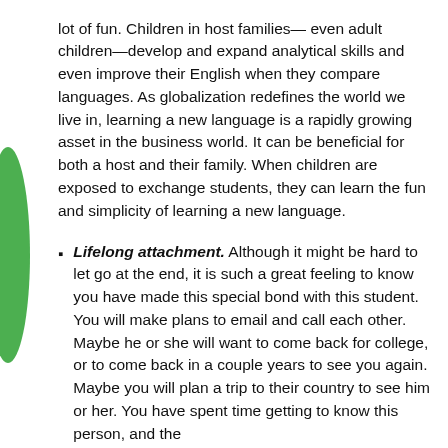lot of fun. Children in host families—even adult children—develop and expand analytical skills and even improve their English when they compare languages. As globalization redefines the world we live in, learning a new language is a rapidly growing asset in the business world. It can be beneficial for both a host and their family. When children are exposed to exchange students, they can learn the fun and simplicity of learning a new language.
Lifelong attachment. Although it might be hard to let go at the end, it is such a great feeling to know you have made this special bond with this student. You will make plans to email and call each other. Maybe he or she will want to come back for college, or to come back in a couple years to see you again. Maybe you will plan a trip to their country to see him or her. You have spent time getting to know this person, and the